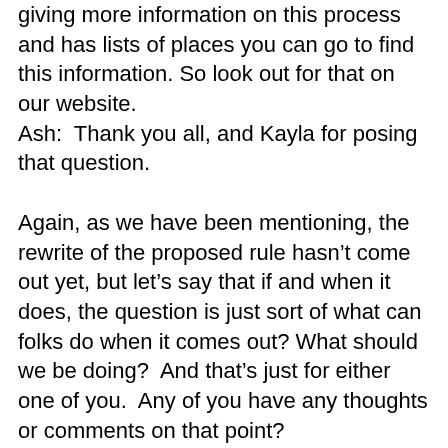giving more information on this process and has lists of places you can go to find this information. So look out for that on our website.
Ash:  Thank you all, and Kayla for posing that question.
Again, as we have been mentioning, the rewrite of the proposed rule hasn't come out yet, but let's say that if and when it does, the question is just sort of what can folks do when it comes out?  What should we be doing?  And that's just for either one of you.  Any of you have any thoughts or comments on that point?
>> Milo:  I can say a little about that.  Just to reiterate from before.  I think staying local and organizing will be very important just -- you